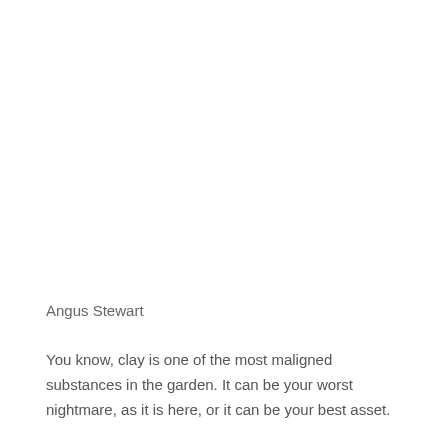Angus Stewart
You know, clay is one of the most maligned substances in the garden. It can be your worst nightmare, as it is here, or it can be your best asset.